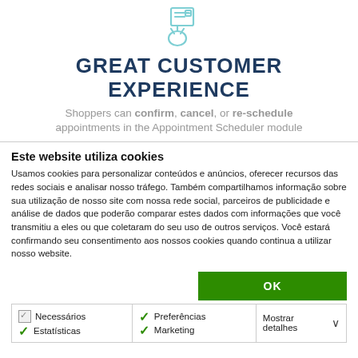[Figure (illustration): Light blue line-art icon of a hand touching a screen with a small list/clipboard]
GREAT CUSTOMER EXPERIENCE
Shoppers can confirm, cancel, or re-schedule appointments in the Appointment Scheduler module
Este website utiliza cookies
Usamos cookies para personalizar conteúdos e anúncios, oferecer recursos das redes sociais e analisar nosso tráfego. Também compartilhamos informação sobre sua utilização de nosso site com nossa rede social, parceiros de publicidade e análise de dados que poderão comparar estes dados com informações que você transmitiu a eles ou que coletaram do seu uso de outros serviços. Você estará confirmando seu consentimento aos nossos cookies quando continua a utilizar nosso website.
| Necessários
Estatísticas | Preferências
Marketing | Mostrar detalhes ∨ |